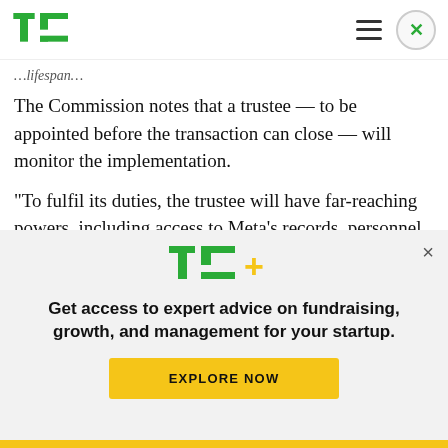TechCrunch header with logo, hamburger menu, and close button
...lifespan...
The Commission notes that a trustee — to be appointed before the transaction can close — will monitor the implementation.
“To fulfil its duties, the trustee will have far-reaching powers, including access to Meta’s records, personnel, facilities or technical information, and
[Figure (logo): TechCrunch TC+ logo in green and yellow]
Get access to expert advice on fundraising, growth, and management for your startup.
EXPLORE NOW